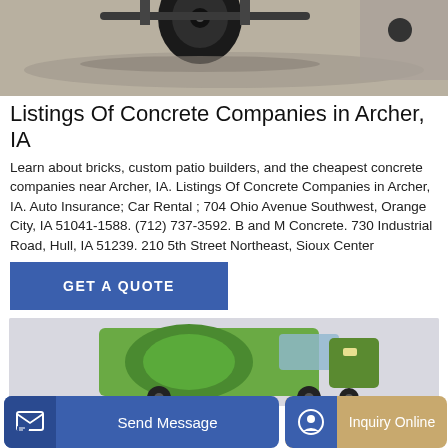[Figure (photo): Top portion of a vehicle or trailer on concrete pavement, showing a tire and undercarriage.]
Listings Of Concrete Companies in Archer, IA
Learn about bricks, custom patio builders, and the cheapest concrete companies near Archer, IA. Listings Of Concrete Companies in Archer, IA. Auto Insurance; Car Rental ; 704 Ohio Avenue Southwest, Orange City, IA 51041-1588. (712) 737-3592. B and M Concrete. 730 Industrial Road, Hull, IA 51239. 210 5th Street Northeast, Sioux Center
GET A QUOTE
[Figure (photo): A green concrete mixer truck photographed from the front-side, partially visible.]
Send Message
Inquiry Online